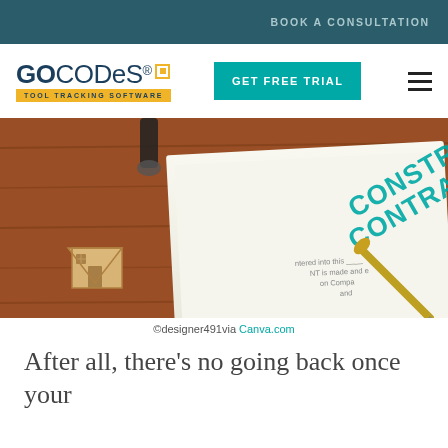BOOK A CONSULTATION
[Figure (logo): GoCodes Tool Tracking Software logo with yellow badge]
GET FREE TRIAL
[Figure (photo): Photo of a construction contract document with a wooden house model and pen on a wooden table]
©designer491via Canva.com
After all, there’s no going back once your